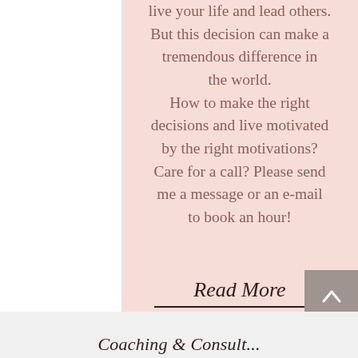live your life and lead others. But this decision can make a tremendous difference in the world. How to make the right decisions and live motivated by the right motivations? Care for a call? Please send me a message or an e-mail to book an hour!
Read More